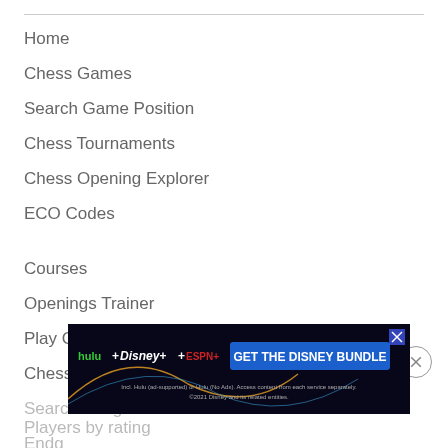Home
Chess Games
Search Game Position
Chess Tournaments
Chess Opening Explorer
ECO Codes
Courses
Openings Trainer
Play Computer
Chess Puzzles and Tactics
Search Endgames
Endgames
[Figure (screenshot): GET THE DISNEY BUNDLE advertisement banner featuring Hulu, Disney+, and ESPN+ logos with fine print about access and terms. ©2021 Disney and its related entities.]
Players by rating